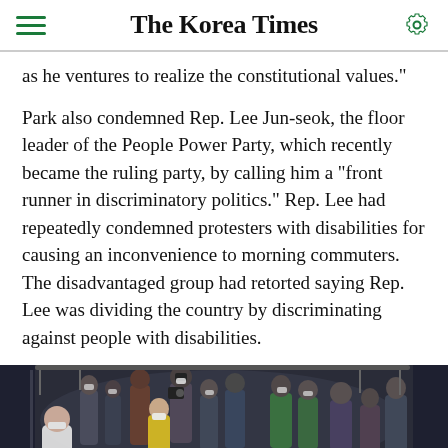The Korea Times
as he ventures to realize the constitutional values."
Park also condemned Rep. Lee Jun-seok, the floor leader of the People Power Party, which recently became the ruling party, by calling him a "front runner in discriminatory politics." Rep. Lee had repeatedly condemned protesters with disabilities for causing an inconvenience to morning commuters. The disadvantaged group had retorted saying Rep. Lee was dividing the country by discriminating against people with disabilities.
[Figure (photo): People in masks inside a subway car, including protesters with disabilities, photographers, and commuters. Some individuals appear to be in wheelchairs or seated on the floor.]